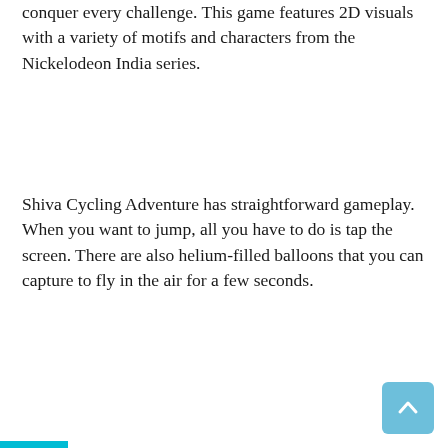conquer every challenge. This game features 2D visuals with a variety of motifs and characters from the Nickelodeon India series.
Shiva Cycling Adventure has straightforward gameplay. When you want to jump, all you have to do is tap the screen. There are also helium-filled balloons that you can capture to fly in the air for a few seconds.